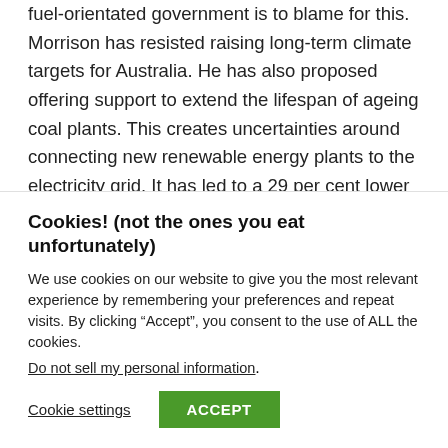fuel-orientated government is to blame for this. Morrison has resisted raising long-term climate targets for Australia. He has also proposed offering support to extend the lifespan of ageing coal plants. This creates uncertainties around connecting new renewable energy plants to the electricity grid. It has led to a 29 per cent lower average quarterly investment in
Cookies! (not the ones you eat unfortunately)
We use cookies on our website to give you the most relevant experience by remembering your preferences and repeat visits. By clicking “Accept”, you consent to the use of ALL the cookies.
Do not sell my personal information.
Cookie settings   ACCEPT